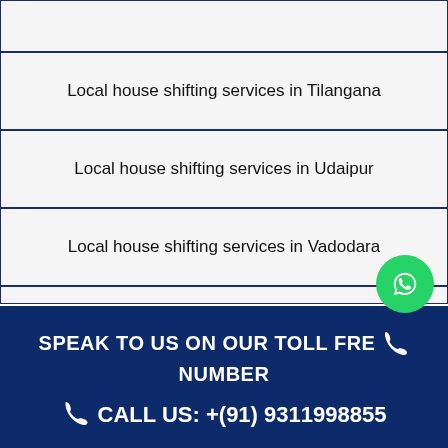Local house shifting services in Tilangana
Local house shifting services in Udaipur
Local house shifting services in Vadodara
SPEAK TO US ON OUR TOLL FREE NUMBER
CALL US: +(91) 9311998855